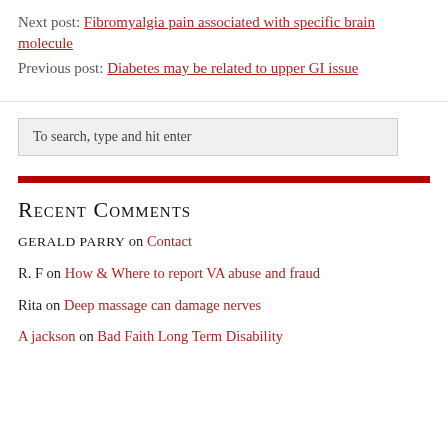Next post: Fibromyalgia pain associated with specific brain molecule
Previous post: Diabetes may be related to upper GI issue
To search, type and hit enter
Recent Comments
GERALD PARRY on Contact
R. F on How & Where to report VA abuse and fraud
Rita on Deep massage can damage nerves
A jackson on Bad Faith Long Term Disability